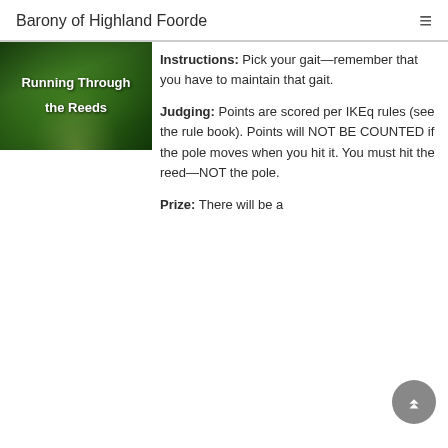Barony of Highland Foorde
[Figure (photo): Photo of a tree-lined path or trail with text overlay reading 'Running Through the Reeds']
Instructions: Pick your gait—remember that you have to maintain that gait.
Judging: Points are scored per IKEq rules (see the rule book). Points will NOT BE COUNTED if the pole moves when you hit it. You must hit the reed—NOT the pole.
Prize: There will be a